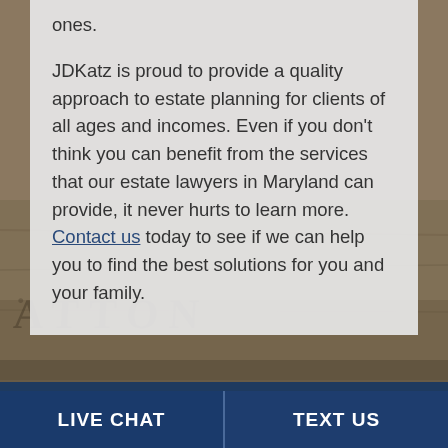ones.
JDKatz is proud to provide a quality approach to estate planning for clients of all ages and incomes. Even if you don’t think you can benefit from the services that our estate lawyers in Maryland can provide, it never hurts to learn more. Contact us today to see if we can help you to find the best solutions for you and your family.
[Figure (photo): Stone or granite surface with engraved letters partially visible, reading 'ATTON' in large serif lettering, suggesting a gravestone or monument. The image is dark brownish-gray in tone.]
LIVE CHAT | TEXT US